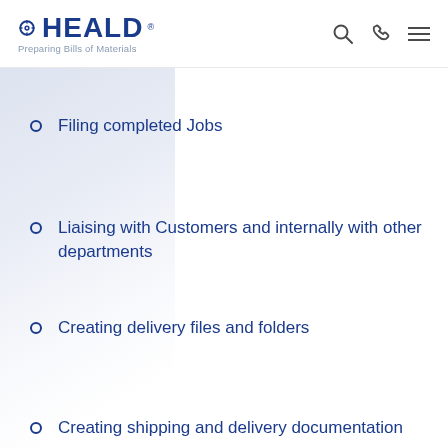HEALD® · Preparing Bills of Materials
Filing completed Jobs
Liaising with Customers and internally with other departments
Creating delivery files and folders
Creating shipping and delivery documentation